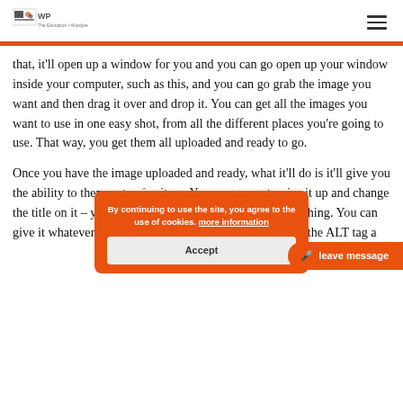[Logo: LLWP] [hamburger menu icon]
that, it'll open up a window for you and you can go open up your window inside your computer, such as this, and you can go grab the image you want and then drag it over and drop it. You can get all the images you want to use in one easy shot, from all the different places you're going to use. That way, you get them all uploaded and ready to go.
Once you have the image uploaded and ready, what it'll do is it'll give you the ability to then customize it up. You can go customize it up and change the title on it – you know, whatever you want to call that thing. You can give it whatever you want as a title. Make sure you fill in the ALT tag a
By continuing to use the site, you agree to the use of cookies. more information
Accept
leave message